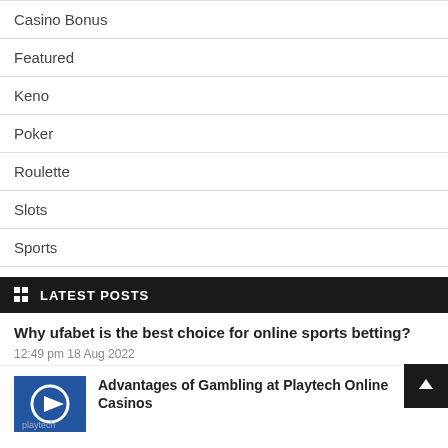Casino Bonus
Featured
Keno
Poker
Roulette
Slots
Sports
LATEST POSTS
Why ufabet is the best choice for online sports betting?
12:49 pm 18 Aug 2022
Advantages of Gambling at Playtech Online Casinos